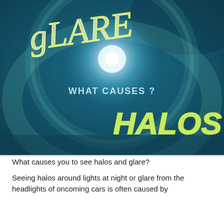[Figure (illustration): Dark teal/blue background with a glowing white light source in the center-upper area and a large halo arc around it. 'GLARE' written in cursive yellow-white neon style text in the upper-left. 'WHAT CAUSES ?' written in white sans-serif text in the middle. 'HALOS' written in bold yellow-green glowing italic text in the lower-right.]
What causes you to see halos and glare?
Seeing halos around lights at night or glare from the headlights of oncoming cars is often caused by